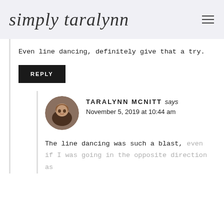simply taralynn
Even line dancing, definitely give that a try.
REPLY
TARALYNN MCNITT says
November 5, 2019 at 10:44 am
The line dancing was such a blast, even if I was going in the opposite direction as